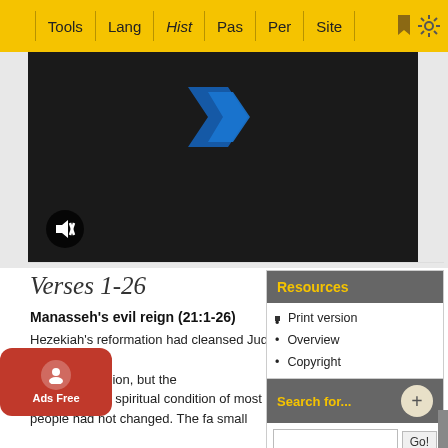Tools | Lang | Hist | Pas | Per | Site
[Figure (screenshot): Dark video player area with a blue play logo at top center and a mute button (speaker with X) at bottom left]
Verses 1-26
Manasseh's evil reign (21:1-26)
Hezekiah's reformation had cleansed Judah of the outward signs of foreign religion, but the inward spiritual condition of most people had not changed. The fa... small...
Print version
Overview
Copyright
Bibliography
[Figure (screenshot): Search for... input box with + button and Go! button]
[Figure (illustration): Ads Free overlay button in red with person icon]